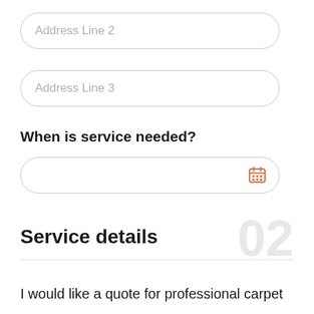[Figure (screenshot): Form input field with placeholder text 'Address Line 2', rounded border]
[Figure (screenshot): Form input field with placeholder text 'Address Line 3', rounded border]
When is service needed?
[Figure (screenshot): Date picker input field with orange calendar icon on the right, rounded border]
Service details
I would like a quote for professional carpet